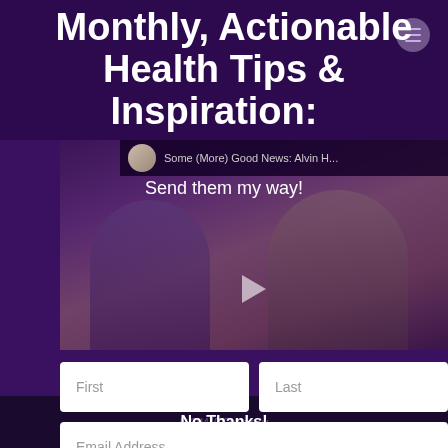Monthly, Actionable Health Tips & Inspiration:
Send them my way!
[Figure (screenshot): Video thumbnail showing two people in a conversation. Video title bar shows 'Some (More) Good News: Alvin H...' with a circular avatar thumbnail.]
First
Last
Email Address
Subscribe
No Thanks!
Powered by Weebly